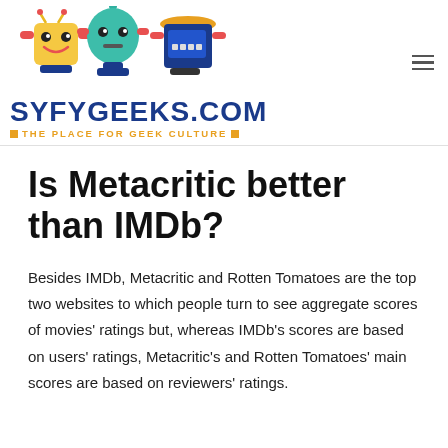[Figure (logo): SyfyGeeks.com website header logo with three cartoon robots (yellow, teal, blue) above the site name SYFYGEEKS.COM and tagline THE PLACE FOR GEEK CULTURE]
Is Metacritic better than IMDb?
Besides IMDb, Metacritic and Rotten Tomatoes are the top two websites to which people turn to see aggregate scores of movies' ratings but, whereas IMDb's scores are based on users' ratings, Metacritic's and Rotten Tomatoes' main scores are based on reviewers' ratings.